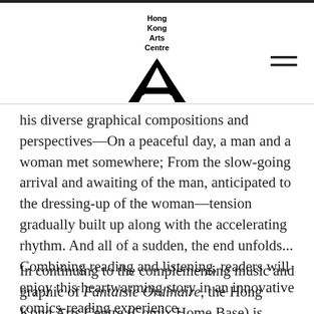[Figure (logo): Hong Kong Arts Centre logo with stylized A lettermark]
his diverse graphical compositions and perspectives—On a peaceful day, a man and a woman met somewhere; From the slow-going arrival and awaiting of the man, anticipated to the dressing-up of the woman—tension gradually built up along with the accelerating rhythm. And all of a sudden, the end unfolds... Combining reading and listening, readers will enjoy this heartwarming story in an innovative comics-reading experience.
In continuing to the complementing music and graphic of Fantaisie Ordinaire, the Hong Kong Arts Centre (Comix Home Base) is presenting a series of